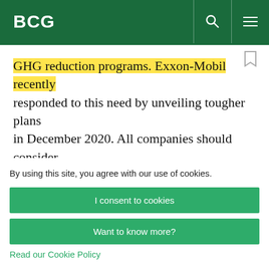BCG
GHG reduction programs. ExxonMobil recently responded to this need by unveiling tougher plans in December 2020. All companies should consider whether their targets are sufficiently demanding to maintain backing among investors that are already concerned that decarbonization will lead to
By using this site, you agree with our use of cookies.
I consent to cookies
Want to know more?
Read our Cookie Policy